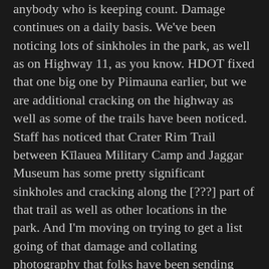anybody who is keeping count. Damage continues on a daily basis. We've been noticing lots of sinkholes in the park, as well as on Highway 11, as you know. HDOT fixed that one big one by Piimauna earlier, but we are additional cracking on the highway as well as some of the trails have been noticed. Staff has noticed that Crater Rim Trail between Kīlauea Military Camp and Jaggar Museum has some pretty significant sinkholes and cracking along the [???] part of that trail as well as other locations in the park. And I'm moving on trying to get a list going of that damage and collating photography that folks have been sending me.
As far as events that are going outside of the park, our ranger talks are continuing at the Mokupāpapa Discovery Center. Every third Thursday, they have an evening lecture. And next Thursday, July 19,  a week from today, from 5:30 to 6:30, our park ranger